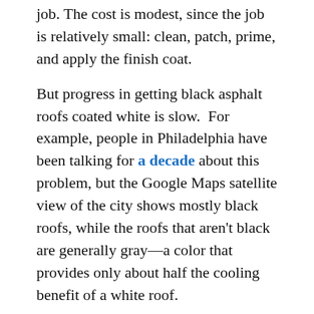job. The cost is modest, since the job is relatively small: clean, patch, prime, and apply the finish coat.
But progress in getting black asphalt roofs coated white is slow. For example, people in Philadelphia have been talking for a decade about this problem, but the Google Maps satellite view of the city shows mostly black roofs, while the roofs that aren't black are generally gray—a color that provides only about half the cooling benefit of a white roof.
How to persuade landlords to apply white roof coating to black asphalt roofs?
Landlords are under no pressure to apply a white roof coating to their properties to improve